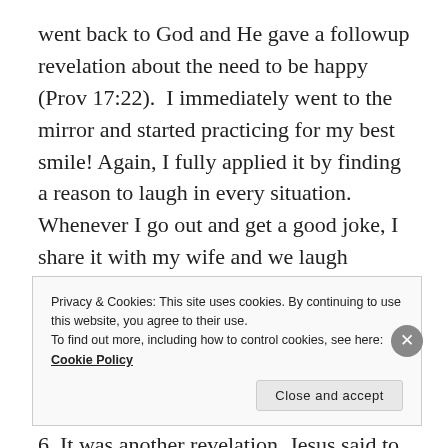went back to God and He gave a followup revelation about the need to be happy (Prov 17:22).  I immediately went to the mirror and started practicing for my best smile! Again, I fully applied it by finding a reason to laugh in every situation.   Whenever I go out and get a good joke, I share it with my wife and we laugh together.
I was sent abroad to do a very expensive, comprehensive test, to confirm the results. In that time I was directed to John 6. It was another revelation. Jesus said to me, "I am the bread of life." I quickly referenced other scriptures (for
Privacy & Cookies: This site uses cookies. By continuing to use this website, you agree to their use.
To find out more, including how to control cookies, see here: Cookie Policy
Close and accept